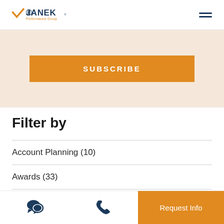JANEK Performance Group
SUBSCRIBE
Filter by
Account Planning (10)
Awards (33)
Client Testimonial (31)
Request Info